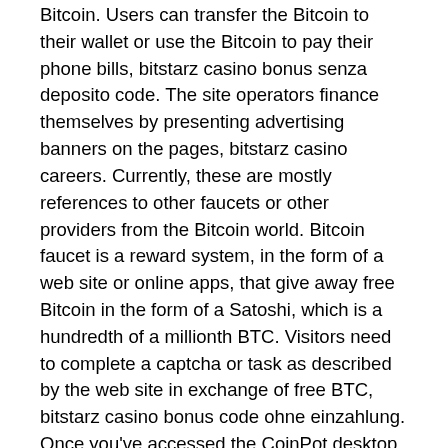Bitcoin. Users can transfer the Bitcoin to their wallet or use the Bitcoin to pay their phone bills, bitstarz casino bonus senza deposito code. The site operators finance themselves by presenting advertising banners on the pages, bitstarz casino careers. Currently, these are mostly references to other faucets or other providers from the Bitcoin world. Bitcoin faucet is a reward system, in the form of a web site or online apps, that give away free Bitcoin in the form of a Satoshi, which is a hundredth of a millionth BTC. Visitors need to complete a captcha or task as described by the web site in exchange of free BTC, bitstarz casino bonus code ohne einzahlung. Once you've accessed the CoinPot desktop, you'll be able to see the main menu with a list of available cryptocurrencies. You can also use the new news and lottery sections, bitstarz casino darmowe spiny. Baru kemudian install Firefox 36, bitstarz casino